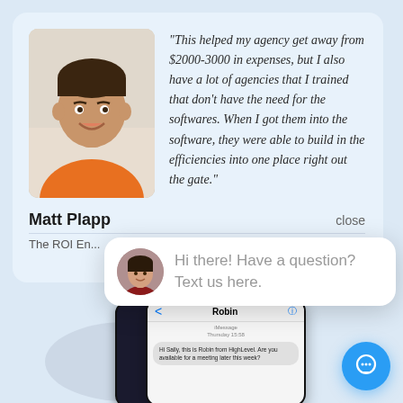[Figure (screenshot): Testimonial card with photo of Matt Plapp in orange shirt, italic quote about agency savings and software efficiencies, name 'Matt Plapp', and close button. Below is a chat popup with female avatar saying 'Hi there! Have a question? Text us here.' and a phone mockup showing iMessage conversation with Robin. Blue chat bubble button in bottom right.]